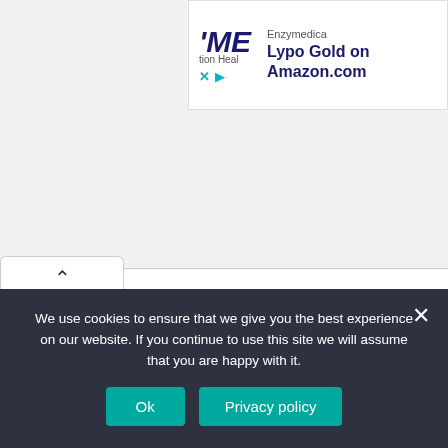[Figure (screenshot): Advertisement banner for Enzymedica Lypo Gold on Amazon.com, showing brand logo and product name]
[Figure (screenshot): Browser UI element: a tab with an upward chevron/caret icon, indicating a collapsible or expandable tab]
We use cookies to ensure that we give you the best experience on our website. If you continue to use this site we will assume that you are happy with it.
Ok
Privacy policy